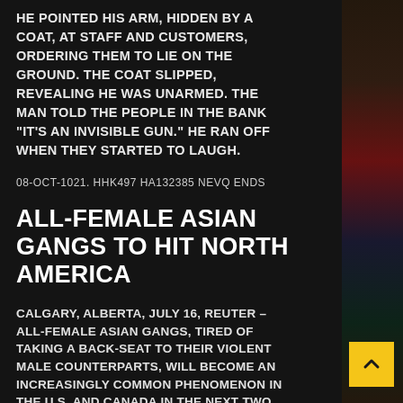HE POINTED HIS ARM, HIDDEN BY A COAT, AT STAFF AND CUSTOMERS, ORDERING THEM TO LIE ON THE GROUND. THE COAT SLIPPED, REVEALING HE WAS UNARMED. THE MAN TOLD THE PEOPLE IN THE BANK "IT'S AN INVISIBLE GUN." HE RAN OFF WHEN THEY STARTED TO LAUGH.
08-OCT-1021. HHK497 HA132385 NEVQ ENDS
ALL-FEMALE ASIAN GANGS TO HIT NORTH AMERICA
CALGARY, ALBERTA, JULY 16, REUTER – ALL-FEMALE ASIAN GANGS, TIRED OF TAKING A BACK-SEAT TO THEIR VIOLENT MALE COUNTERPARTS, WILL BECOME AN INCREASINGLY COMMON PHENOMENON IN THE U.S. AND CANADA IN THE NEXT TWO YEARS, AN EXPERT PREDICTED ON THURSDAY. THE FEMALE GANG...